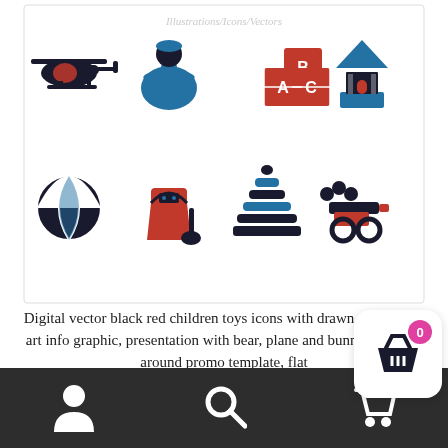[Figure (illustration): Grid of 8 children toy icons in black, red and blue: helicopter, princess/doll, ABC blocks, toy house/pagoda, beach ball, robot/bucket with shovel, stacking rings pyramid, toy gun with wheels]
Digital vector black red children toys icons with drawn simple line art info graphic, presentation with bear, plane and bunny elements around promo template, flat
[Figure (other): Select options button - grey rectangular button with bold text 'Select options']
Bottom navigation bar with person icon, search icon, and shopping basket icon with badge showing 0